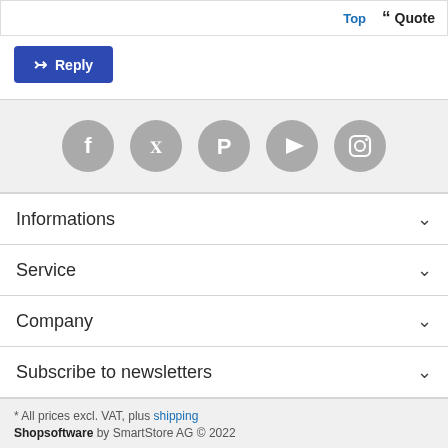Top  ❝ Quote
Reply
[Figure (infographic): Five gray circular social media icon buttons: Facebook, Twitter, Pinterest, YouTube, Instagram]
Informations
Service
Company
Subscribe to newsletters
* All prices excl. VAT, plus shipping
Shopsoftware by SmartStore AG © 2022